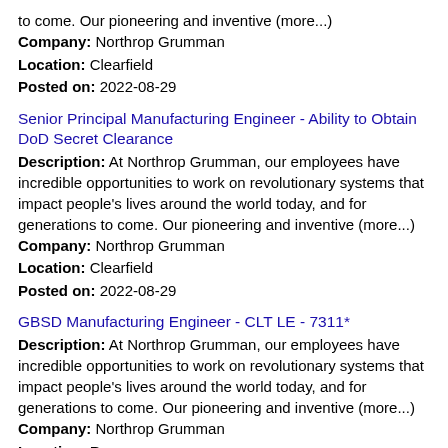to come. Our pioneering and inventive (more...)
Company: Northrop Grumman
Location: Clearfield
Posted on: 2022-08-29
Senior Principal Manufacturing Engineer - Ability to Obtain DoD Secret Clearance
Description: At Northrop Grumman, our employees have incredible opportunities to work on revolutionary systems that impact people's lives around the world today, and for generations to come. Our pioneering and inventive (more...)
Company: Northrop Grumman
Location: Clearfield
Posted on: 2022-08-29
GBSD Manufacturing Engineer - CLT LE - 7311*
Description: At Northrop Grumman, our employees have incredible opportunities to work on revolutionary systems that impact people's lives around the world today, and for generations to come. Our pioneering and inventive (more...)
Company: Northrop Grumman
Location: Roy
Posted on: 2022-08-29
Principal Manufacturing Engineer - Night Shift
Description: At Northrop Grumman, our employees have incredible opportunities to work on revolutionary systems that